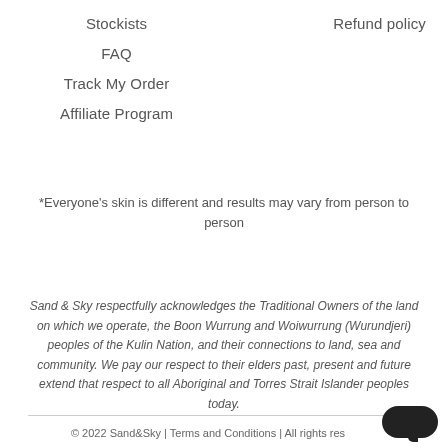Stockists
Refund policy
FAQ
Track My Order
Affiliate Program
*Everyone’s skin is different and results may vary from person to person
Sand & Sky respectfully acknowledges the Traditional Owners of the land on which we operate, the Boon Wurrung and Woiwurrung (Wurundjeri) peoples of the Kulin Nation, and their connections to land, sea and community. We pay our respect to their elders past, present and future extend that respect to all Aboriginal and Torres Strait Islander peoples today.
© 2022 Sand&Sky | Terms and Conditions | All rights res…